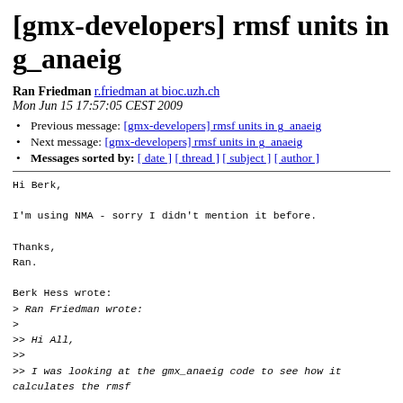[gmx-developers] rmsf units in g_anaeig
Ran Friedman r.friedman at bioc.uzh.ch
Mon Jun 15 17:57:05 CEST 2009
Previous message: [gmx-developers] rmsf units in g_anaeig
Next message: [gmx-developers] rmsf units in g_anaeig
Messages sorted by: [ date ] [ thread ] [ subject ] [ author ]
Hi Berk,

I'm using NMA - sorry I didn't mention it before.

Thanks,
Ran.

Berk Hess wrote:
> Ran Friedman wrote:
>
>> Hi All,
>>
>> I was looking at the gmx_anaeig code to see how it calculates the rmsf